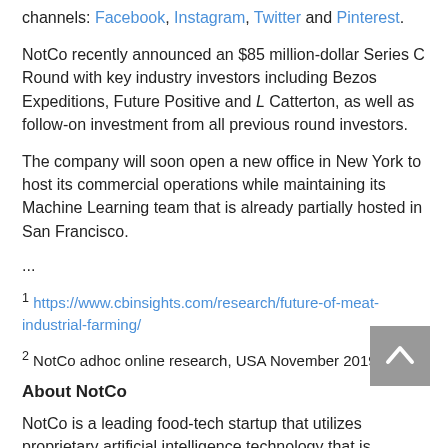channels: Facebook, Instagram, Twitter and Pinterest.
NotCo recently announced an $85 million-dollar Series C Round with key industry investors including Bezos Expeditions, Future Positive and L Catterton, as well as follow-on investment from all previous round investors.
The company will soon open a new office in New York to host its commercial operations while maintaining its Machine Learning team that is already partially hosted in San Francisco.
...
1 https://www.cbinsights.com/research/future-of-meat-industrial-farming/
2 NotCo adhoc online research, USA November 2019
About NotCo
NotCo is a leading food-tech startup that utilizes proprietary artificial intelligence technology that is constantly being...